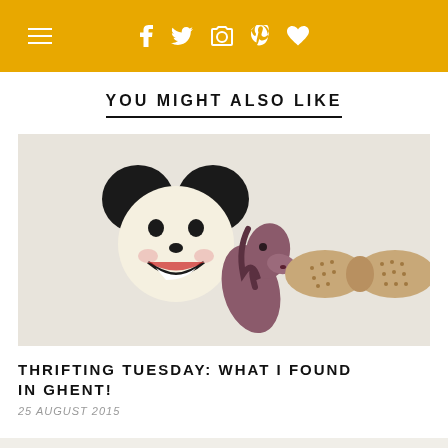Navigation bar with hamburger menu and social icons
YOU MIGHT ALSO LIKE
[Figure (photo): Three novelty pins/badges on a light background: a Mickey Mouse face pin, a horse head brooch, and a bow-tie shaped biscuit/cookie pin]
THRIFTING TUESDAY: WHAT I FOUND IN GHENT!
25 AUGUST 2015